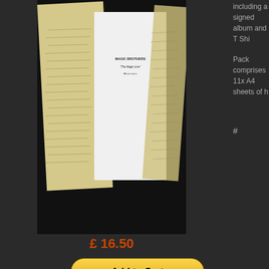[Figure (photo): Product photo of Magic Brothers 'The Magic Line' album lyrics pack - showing beige/cream lyric sheets alongside a white booklet cover]
including a signed album and T Shi...
Pack comprises 11x A4 sheets of h...
#
£ 16.50
Add to Cart
Vote for Fred manifesto - Actual item from Dr...
[Figure (photo): Photo of Vote for Fred manifesto - showing 'VOTE FOR' text in large letters on left side and 'MANIFESTO' booklet on right with 'GENTLEMEN & ASSASSINS AND LADIES OF THE NIGHT I CALL UPON FOR THIS EVENING IN THE HOPE OF SHEDDING SOME LIGHT' text]
This is one of the actual manifestos...
are near impossible to obtain, this i...
Drip Fed Fred being arguably the b...